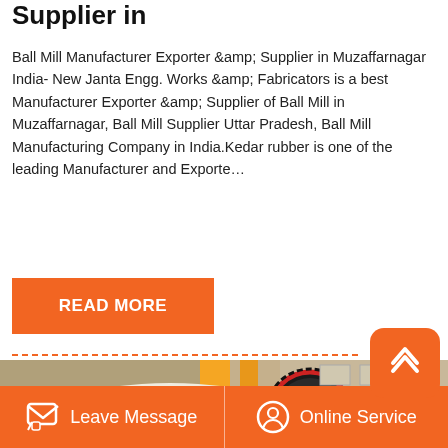Supplier in
Ball Mill Manufacturer Exporter &amp; Supplier in Muzaffarnagar India- New Janta Engg. Works &amp; Fabricators is a best Manufacturer Exporter &amp; Supplier of Ball Mill in Muzaffarnagar, Ball Mill Supplier Uttar Pradesh, Ball Mill Manufacturing Company in India.Kedar rubber is one of the leading Manufacturer and Exporte…
READ MORE
[Figure (photo): Industrial ball mill machine photographed outdoors in front of a factory building. The machine is white/cream colored with a large black gear wheel visible on the side, and orange/yellow structural supports in the background.]
Leave Message
Online Service